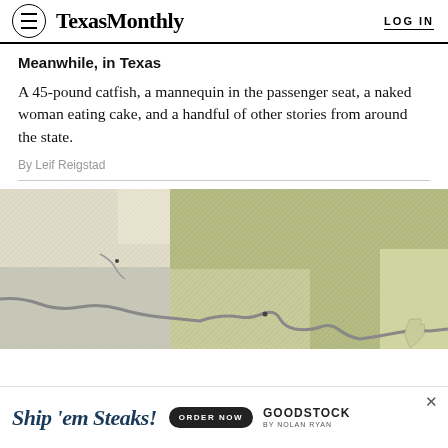TexasMonthly  LOG IN
Meanwhile, in Texas
A 45-pound catfish, a mannequin in the passenger seat, a naked woman eating cake, and a handful of other stories from around the state.
By Leif Reigstad
[Figure (map): Partial map of Texas showing state regions in shades of green, tan, and grey with river/border lines]
Ship 'em Steaks!  ORDER NOW  GOODSTOCK BY NOLAN RYAN